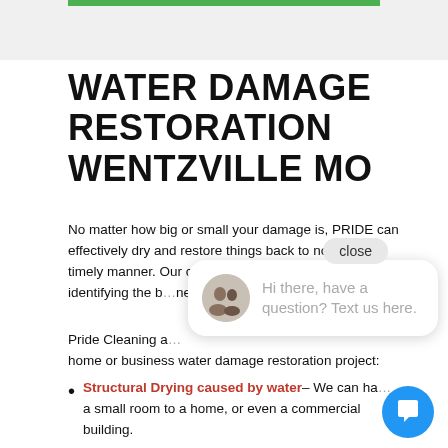[Figure (other): Green progress/navigation bar at top of webpage, on a light gray background header area]
WATER DAMAGE RESTORATION WENTZVILLE MO
No matter how big or small your damage is, PRIDE can effectively dry and restore things back to normal in a timely manner. Our certified technicians are capable of identifying the best approach for your unique restoration needs and get the job done efficiently.
Pride Cleaning and Restoration can tackle any size home or business water damage restoration project:
Structural Drying caused by water – We can handle anything from a small room to a home, or even a commercial building.
[Figure (other): Chat widget popup showing an avatar photo of two people and the text 'Hi there, have a question? Text us here.' with a close button, and a blue circular chat button in the bottom right corner]